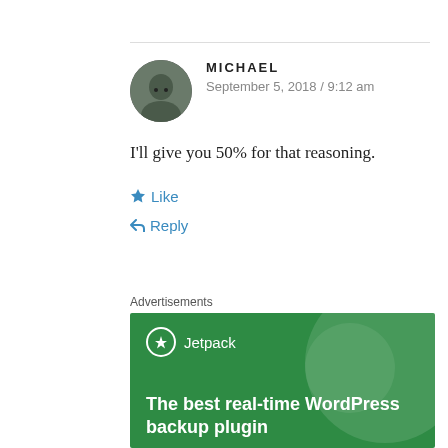MICHAEL
September 5, 2018 / 9:12 am
I'll give you 50% for that reasoning.
Like
Reply
Advertisements
[Figure (illustration): Jetpack WordPress plugin advertisement banner on green background with text: The best real-time WordPress backup plugin]